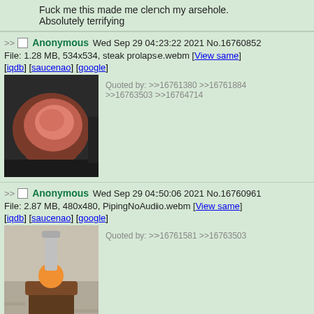Fuck me this made me clench my arsehole. Absolutely terrifying
>> Anonymous Wed Sep 29 04:23:22 2021 No.16760852
File: 1.28 MB, 534x534, steak prolapse.webm [View same] [iqdb] [saucenao] [google]
Quoted by: >>16761380 >>16761884 >>16763503 >>16764714
[Figure (photo): Photo of a piece of raw steak on a dark cutting board]
>> Anonymous Wed Sep 29 04:50:06 2021 No.16760961
File: 2.87 MB, 480x480, PipingNoAudio.webm [View same] [iqdb] [saucenao] [google]
Quoted by: >>16761581 >>16763503
[Figure (photo): Photo of a chocolate cupcake with an orange ball on top being piped with a metal nozzle]
>> Anonymous Wed Sep 29 04:52:06 2021 No.16760971